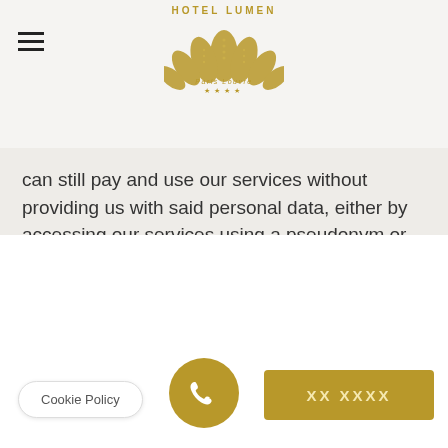[Figure (logo): Hotel Lumen Paris Louvre logo with golden fan/crown motif and four stars]
can still pay and use our services without providing us with said personal data, either by accessing our services using a pseudonym or anonymized data.
Cookies:
This website uses cookies to collect data used for statistical purposes. Cookies are small files stored on your computer's hard drive that monitor your activity
Cookie Policy
[Figure (illustration): Gold circular phone/call button icon]
[Figure (illustration): Gold rectangular booking button with XX XXXX text]